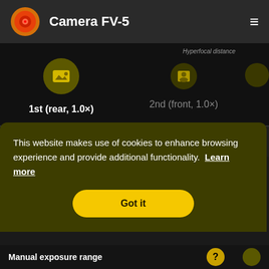[Figure (screenshot): Camera FV-5 app logo — circular icon with red shutter symbol on gradient orange/yellow background]
Camera FV-5
Hyperfocal distance
1st (rear, 1.0×)
2nd (front, 1.0×)
This website makes use of cookies to enhance browsing experience and provide additional functionality.  Learn more
Got it
Manual exposure range